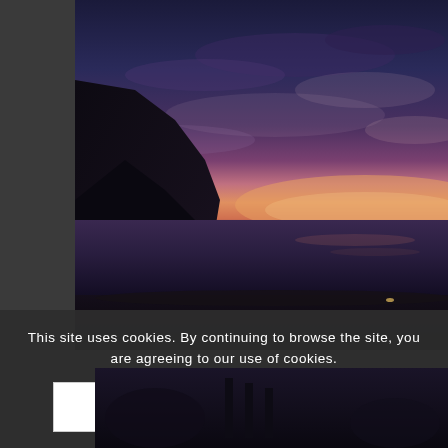[Figure (photo): Landscape photograph of a coastal sunset scene. A dark hillside/cliff rises on the left, with a calm sea in the middle ground. The sky is dramatic with clouds lit in pink, purple, and orange hues at the horizon, transitioning to deep blue above.]
This site uses cookies. By continuing to browse the site, you are agreeing to our use of cookies.
[Figure (photo): Partial bottom photo strip showing a dark landscape scene, partially obscured.]